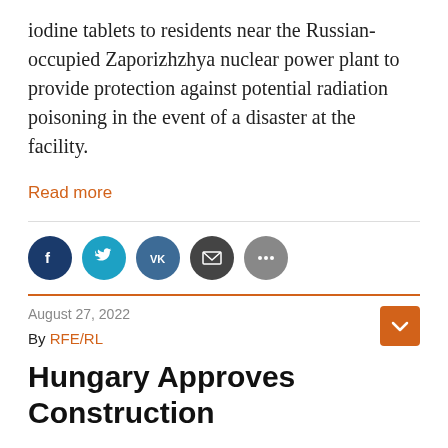iodine tablets to residents near the Russian-occupied Zaporizhzhya nuclear power plant to provide protection against potential radiation poisoning in the event of a disaster at the facility.
Read more
[Figure (other): Social media sharing buttons: Facebook, Twitter, VK, Email, More]
August 27, 2022
By RFE/RL
Hungary Approves Construction